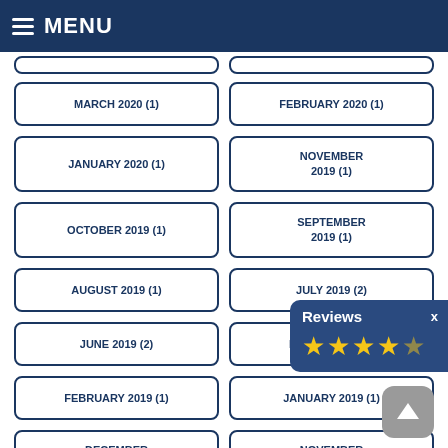MENU
MARCH 2020 (1)
FEBRUARY 2020 (1)
JANUARY 2020 (1)
NOVEMBER 2019 (1)
OCTOBER 2019 (1)
SEPTEMBER 2019 (1)
AUGUST 2019 (1)
JULY 2019 (2)
JUNE 2019 (2)
MARCH 2019 (1)
FEBRUARY 2019 (1)
JANUARY 2019 (1)
DECEMBER 2018 (1)
NOVEMBER 2018 (1)
OCTOBER 2018 (1)
SEPTEMBER 2018 (1)
[Figure (other): Reviews popup with 4.5 star rating and close button X]